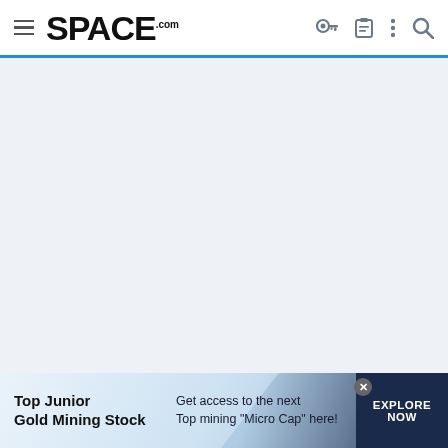SPACE.com
[Figure (screenshot): Large light blue-gray empty content area, likely an advertisement placeholder]
centsworth_II
[Figure (infographic): Ad banner: Top Junior Gold Mining Stock — Get access to the next Top mining "Micro Cap" here! EXPLORE NOW]